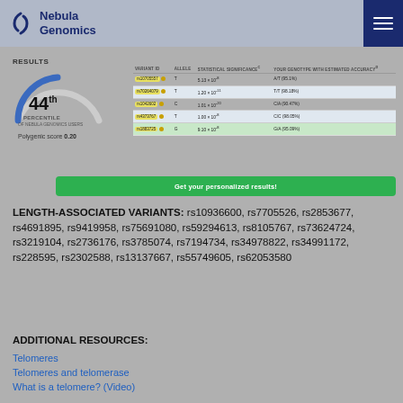[Figure (logo): Nebula Genomics logo with spiral icon]
RESULTS
[Figure (infographic): Gauge showing 44th percentile of Nebula Genomics users, Polygenic score 0.20]
| VARIANT ID | ALLELE | STATISTICAL SIGNIFICANCE | YOUR GENOTYPE WITH ESTIMATED ACCURACY |
| --- | --- | --- | --- |
| rs10705557 | T | 5.13 × 10⁻⁸ | A/T (95.1%) |
| rs70264079 | T | 1.20 × 10⁻¹¹ | T/T (98.18%) |
| rs1042602 | C | 1.01 × 10⁻²⁰ | C/A (90.47%) |
| rs4373767 | T | 1.00 × 10⁻⁸ | C/C (98.05%) |
| rs1883725 | G | 9.10 × 10⁻⁸ | G/A (95.09%) |
Get your personalized results!
LENGTH-ASSOCIATED VARIANTS: rs10936600, rs7705526, rs2853677, rs4691895, rs9419958, rs75691080, rs59294613, rs8105767, rs73624724, rs3219104, rs2736176, rs3785074, rs7194734, rs34978822, rs34991172, rs228595, rs2302588, rs13137667, rs55749605, rs62053580
ADDITIONAL RESOURCES:
Telomeres
Telomeres and telomerase
What is a telomere? (Video)